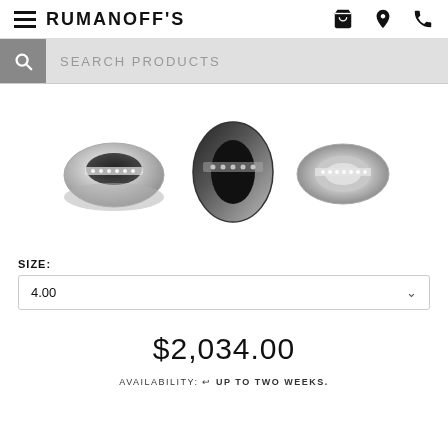RUMANOFF'S
SEARCH PRODUCTS
[Figure (photo): Three views of a diamond wedding band ring in white gold/platinum: angled front view, side view, and top-down view showing channel-set diamonds.]
SIZE: 4.00
$2,034.00
AVAILABILITY: UP TO TWO WEEKS.